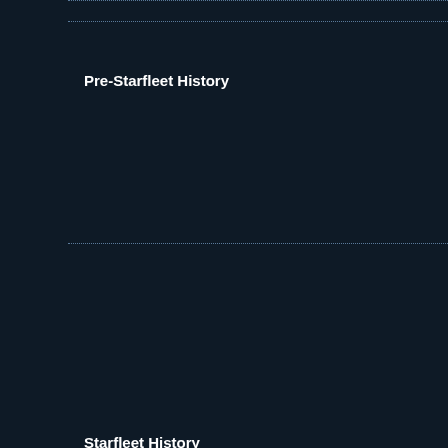| Field | : | Value |
| --- | --- | --- |
| Pre-Starfleet History | : | Worked … studied … |
| Starfleet History | : | The 4 ye… his drea… some sn… courses… classes … the poin… chose to… joke her… acrobati… |
| Medical History | : | He is ha… |
| Skills | : | A skilled… emotion… think ou… holo dec… all hand… |
|  |  | Studies… |